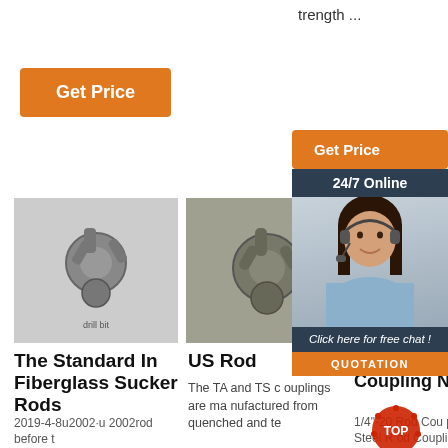trength ...
[Figure (photo): Orange 'Get Price' button on left]
[Figure (photo): Orange 'Get Price' button on right with 24/7 Online chat overlay showing woman with headset]
[Figure (photo): Photo of drill bit / rod coupling tool - black and white]
[Figure (photo): Photo of drill bit / rod coupling tool - color]
The Standard In Fiberglass Sucker Rods
2019-4-8u2002·u 2002rod before t
US Rod
The TA and TS c ouplings are ma nufactured from quenched and te
1/4"-20 Rod Coupling Nut
1/4"-20 Rod Cou pling Nut Steel R od Couplings, co